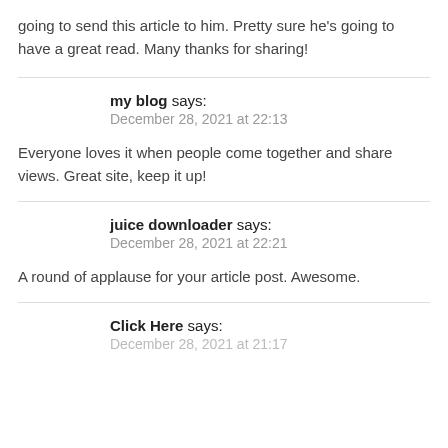going to send this article to him. Pretty sure he's going to have a great read. Many thanks for sharing!
my blog says:
December 28, 2021 at 22:13
Everyone loves it when people come together and share views. Great site, keep it up!
juice downloader says:
December 28, 2021 at 22:21
A round of applause for your article post. Awesome.
Click Here says:
December 28, 2021 at 21:17